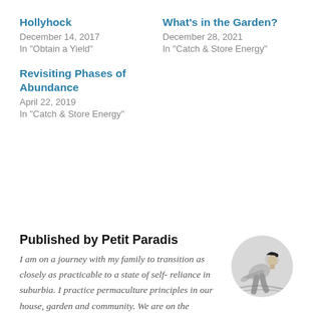Hollyhock
December 14, 2017
In "Obtain a Yield"
What's in the Garden?
December 28, 2021
In "Catch & Store Energy"
Revisiting Phases of Abundance
April 22, 2019
In "Catch & Store Energy"
Published by Petit Paradis
I am on a journey with my family to transition as closely as practicable to a state of self-reliance in suburbia. I practice permaculture principles in our house, garden and community. We are on the
[Figure (photo): Circular avatar portrait of a person working outdoors, black and white illustration style]